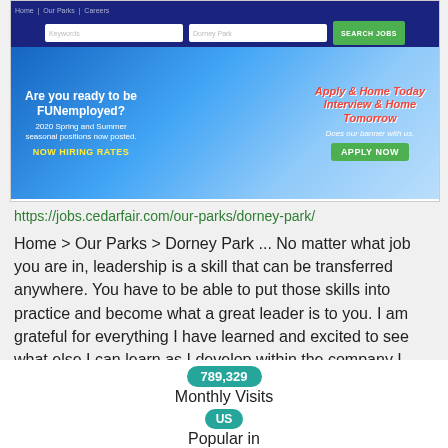[Figure (screenshot): Screenshot of jobs.cedarfair.com website showing navigation bar, search inputs for keywords and location, a green Search Jobs button, and a banner advertising seasonal positions with text 'Are you ready to be FUNemployed? 2020 Spring and Summer seasonal positions now posted.' and 'Apply & Home Today Interview & Home Tomorrow Does our banner with us! APPLY NOW']
https://jobs.cedarfair.com/our-parks/dorney-park/
Home > Our Parks > Dorney Park ... No matter what job you are in, leadership is a skill that can be transferred anywhere. You have to be able to put those skills into practice and become what a great leader is to you. I am grateful for everything I have learned and excited to see what else I can learn as I develop within the company I started ...
789,329
Monthly Visits
US
Popular in
UP
Service Status